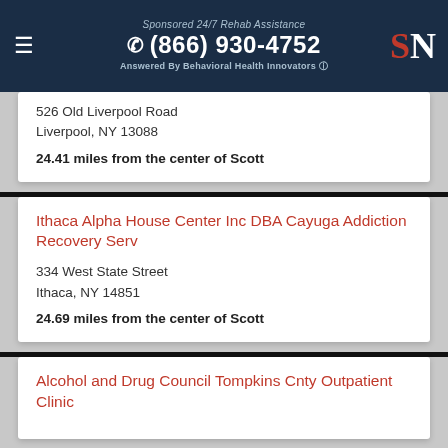Sponsored 24/7 Rehab Assistance | (866) 930-4752 | Answered By Behavioral Health Innovators
526 Old Liverpool Road
Liverpool, NY 13088
24.41 miles from the center of Scott
Ithaca Alpha House Center Inc DBA Cayuga Addiction Recovery Serv
334 West State Street
Ithaca, NY 14851
24.69 miles from the center of Scott
Alcohol and Drug Council Tompkins Cnty Outpatient Clinic